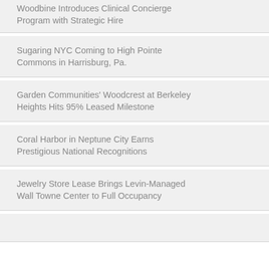Woodbine Introduces Clinical Concierge Program with Strategic Hire
Sugaring NYC Coming to High Pointe Commons in Harrisburg, Pa.
Garden Communities' Woodcrest at Berkeley Heights Hits 95% Leased Milestone
Coral Harbor in Neptune City Earns Prestigious National Recognitions
Jewelry Store Lease Brings Levin-Managed Wall Towne Center to Full Occupancy